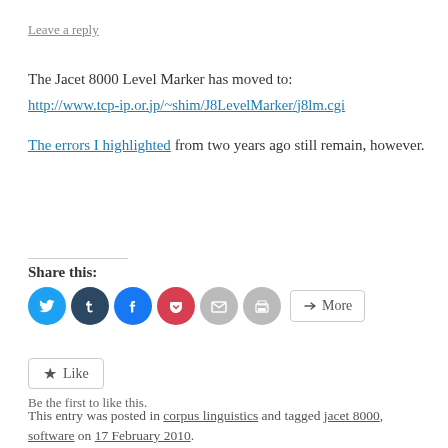Leave a reply
The Jacet 8000 Level Marker has moved to: http://www.tcp-ip.or.jp/~shim/J8LevelMarker/j8lm.cgi
The errors I highlighted from two years ago still remain, however.
Share this:
[Figure (infographic): Social share buttons: Twitter (blue circle), Tumblr (dark blue circle), Facebook (blue circle), Pocket (red circle), Email (gray circle), Print (gray circle), More button]
Like
Be the first to like this.
This entry was posted in corpus linguistics and tagged jacet 8000, software on 17 February 2010.